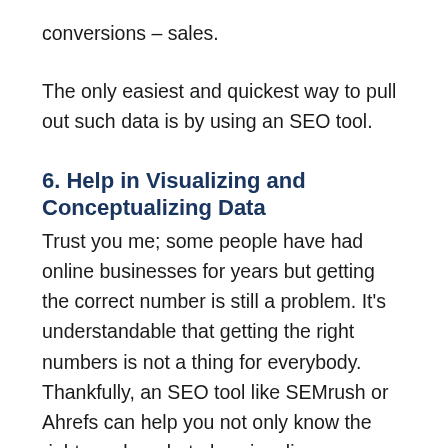conversions – sales.
The only easiest and quickest way to pull out such data is by using an SEO tool.
6. Help in Visualizing and Conceptualizing Data
Trust you me; some people have had online businesses for years but getting the correct number is still a problem. It's understandable that getting the right numbers is not a thing for everybody. Thankfully, an SEO tool like SEMrush or Ahrefs can help you not only know the right numbers but also visualize